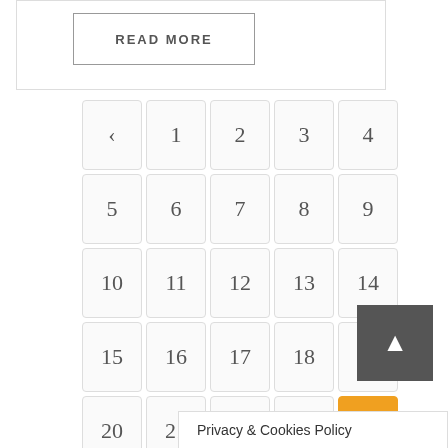READ MORE
< 1 2 3 4
5 6 7 8 9
10 11 12 13 14
15 16 17 18 19
20 21 22 23 24
25 26 >
Privacy & Cookies Policy